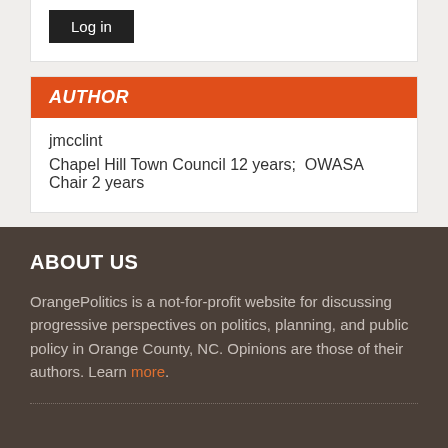Log in
AUTHOR
jmcclint
Chapel Hill Town Council 12 years;  OWASA Chair 2 years
ABOUT US
OrangePolitics is a not-for-profit website for discussing progressive perspectives on politics, planning, and public policy in Orange County, NC. Opinions are those of their authors. Learn more.
COMMUNITY GUIDELINES